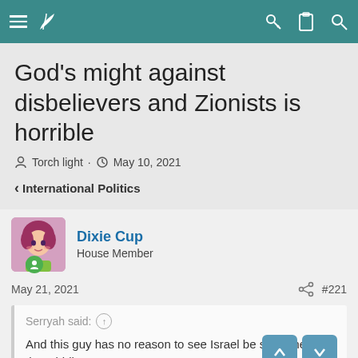Navigation bar with menu, logo, key, clipboard, and search icons
God's might against disbelievers and Zionists is horrible
Torch light · May 10, 2021
< International Politics
Dixie Cup
House Member
May 21, 2021	#221
Serryah said: ↑

And this guy has no reason to see Israel be supreme in the Middle East.